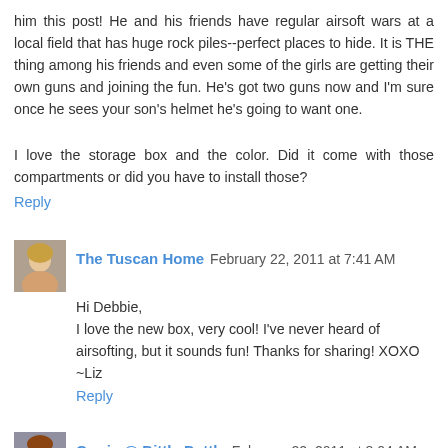him this post! He and his friends have regular airsoft wars at a local field that has huge rock piles--perfect places to hide. It is THE thing among his friends and even some of the girls are getting their own guns and joining the fun. He's got two guns now and I'm sure once he sees your son's helmet he's going to want one.
I love the storage box and the color. Did it come with those compartments or did you have to install those?
Reply
The Tuscan Home  February 22, 2011 at 7:41 AM
Hi Debbie,
I love the new box, very cool! I've never heard of airsofting, but it sounds fun! Thanks for sharing! XOXO ~Liz
Reply
Carrie @ Dittle Dattle  February 22, 2011 at 8:04 AM
Debbie, you have earned yourself the "Coolest Mom"